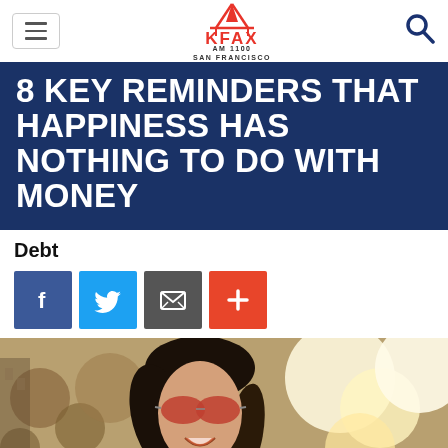KFAX AM 1100 San Francisco
8 KEY REMINDERS THAT HAPPINESS HAS NOTHING TO DO WITH MONEY
Debt
[Figure (other): Social sharing buttons: Facebook (blue), Twitter (light blue), Email (gray), Plus/share (red-orange)]
[Figure (photo): A smiling woman with long dark hair and red mirrored sunglasses, photographed outdoors with a bokeh background]